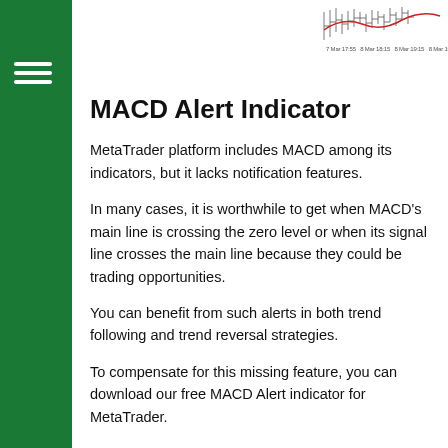[Figure (screenshot): MetaTrader chart thumbnail showing candlestick/bar chart with MACD lines in top-right header area, with time axis labels below]
MACD Alert Indicator
MetaTrader platform includes MACD among its indicators, but it lacks notification features.
In many cases, it is worthwhile to get when MACD's main line is crossing the zero level or when its signal line crosses the main line because they could be trading opportunities.
You can benefit from such alerts in both trend following and trend reversal strategies.
To compensate for this missing feature, you can download our free MACD Alert indicator for MetaTrader.